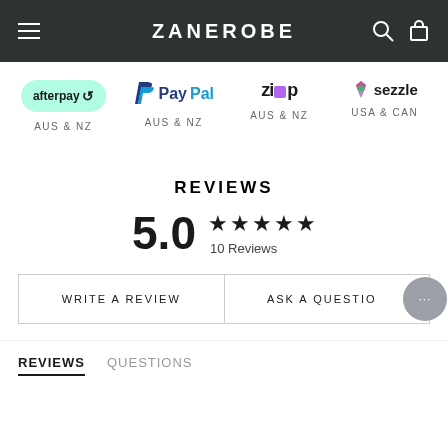ZANEROBE
[Figure (logo): Afterpay logo - green rounded pill shape with afterpay text and arrow icon]
AUS & NZ
[Figure (logo): PayPal logo - blue P icon with PayPal text]
AUS & NZ
[Figure (logo): Zip logo - black text with purple square]
AUS & NZ
[Figure (logo): Sezzle logo - multicolor swirl icon with Sezzle text]
USA & CAN
REVIEWS
5.0 ★★★★★ 10 Reviews
WRITE A REVIEW
ASK A QUESTION
REVIEWS   QUESTIONS